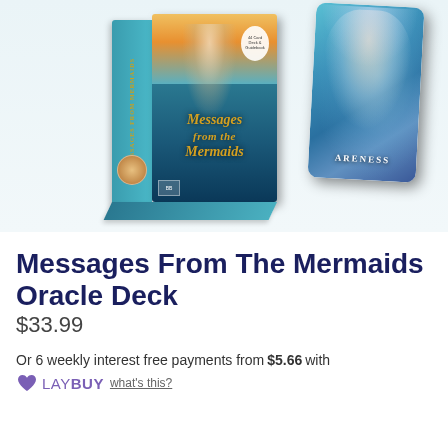[Figure (photo): Product photo showing Messages From The Mermaids Oracle Deck box set with box and a card featuring mermaid artwork. The box shows the title 'Messages from Mermaids' in gold text on a teal/ocean background.]
Messages From The Mermaids Oracle Deck
$33.99
Or 6 weekly interest free payments from $5.66 with LAYBUY what's this?